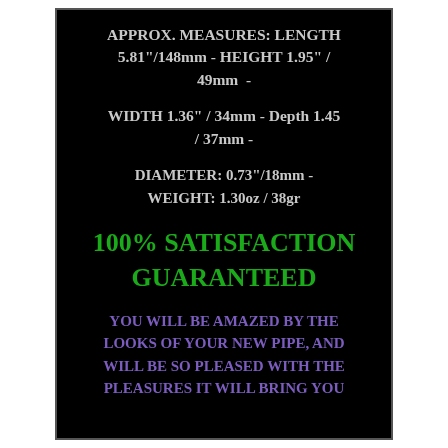APPROX. MEASURES: LENGTH 5.81"/148mm - HEIGHT 1.95" / 49mm  -
WIDTH 1.36" / 34mm - Depth 1.45 / 37mm -
DIAMETER: 0.73"/18mm - WEIGHT: 1.30oz / 38gr
100% SATISFACTION GUARANTEED
YOU WILL BE AMAZED BY THE LOOKS OF YOUR NEW PIPE, AND WILL BE SO PLEASED WITH THE PLEASURES IT WILL BRING YOU